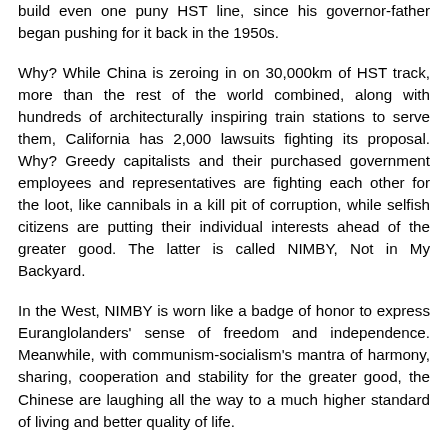build even one puny HST line, since his governor-father began pushing for it back in the 1950s.
Why? While China is zeroing in on 30,000km of HST track, more than the rest of the world combined, along with hundreds of architecturally inspiring train stations to serve them, California has 2,000 lawsuits fighting its proposal. Why? Greedy capitalists and their purchased government employees and representatives are fighting each other for the loot, like cannibals in a kill pit of corruption, while selfish citizens are putting their individual interests ahead of the greater good. The latter is called NIMBY, Not in My Backyard.
In the West, NIMBY is worn like a badge of honor to express Euranglolanders' sense of freedom and independence. Meanwhile, with communism-socialism's mantra of harmony, sharing, cooperation and stability for the greater good, the Chinese are laughing all the way to a much higher standard of living and better quality of life.
Western capitalism talks and Chinese communism-